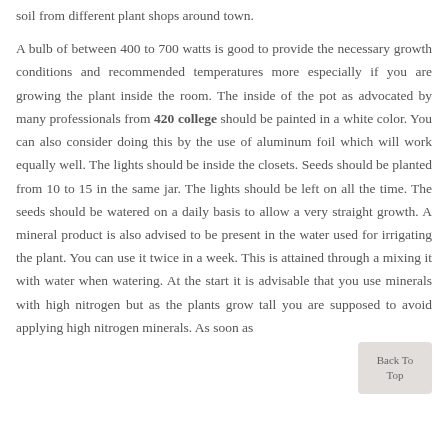soil from different plant shops around town.
A bulb of between 400 to 700 watts is good to provide the necessary growth conditions and recommended temperatures more especially if you are growing the plant inside the room. The inside of the pot as advocated by many professionals from 420 college should be painted in a white color. You can also consider doing this by the use of aluminum foil which will work equally well. The lights should be inside the closets. Seeds should be planted from 10 to 15 in the same jar. The lights should be left on all the time. The seeds should be watered on a daily basis to allow a very straight growth. A mineral product is also advised to be present in the water used for irrigating the plant. You can use it twice in a week. This is attained through a mixing it with water when watering. At the start it is advisable that you use minerals with high nitrogen but as the plants grow tall you are supposed to avoid applying high nitrogen minerals. As soon as